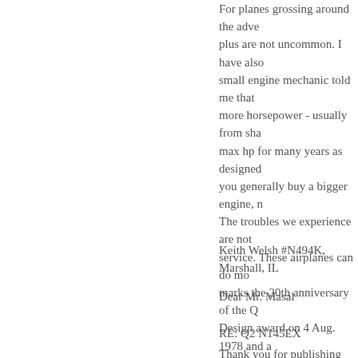For planes grossing around the adve plus are not uncommon. I have also small engine mechanic told me that more horsepower - usually from sha max hp for many years as designed you generally buy a bigger engine, n The troubles we experience are not service. These airplanes can do mo marks the 20th anniversary of the Q Design award on 4 Aug. 1978 and a same plane won Grand Champion P Workmanship Plans Built at the sam only one designed by Burt Rutan hir Crouch and I plan to be there.
Keith Welsh #N494K, Marshall, IL
Dear Mr. Masal
RE: Q2 N145EX
Thank you for publishing my letter in based on a series of high-speed tax